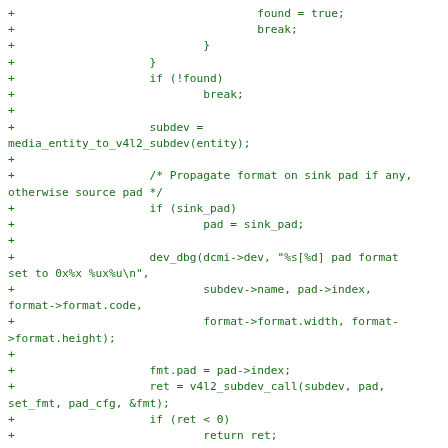Code diff showing C kernel code patch with git diff format, displaying subdevice format propagation logic